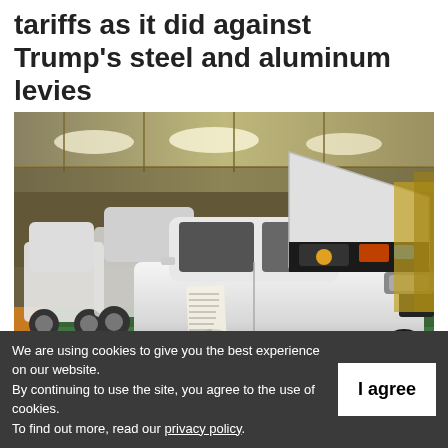tariffs as it did against Trump's steel and aluminum levies
[Figure (photo): White Toyota cars on an automobile assembly line in a factory, with one car's hood open showing the engine compartment. The manufacturing facility has industrial lighting overhead.]
We are using cookies to give you the best experience on our website.
By continuing to use the site, you agree to the use of cookies.
To find out more, read our privacy policy.